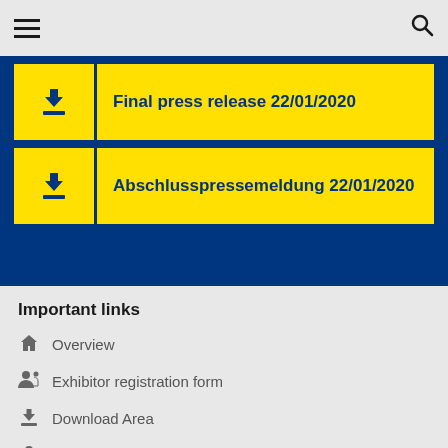Navigation bar with menu and search icons
Final press release 22/01/2020
Abschlusspressemeldung 22/01/2020
Important links
Overview
Exhibitor registration form
Download Area
Team
Further Trade Fairs